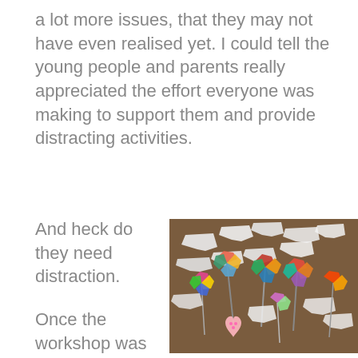a lot more issues, that they may not have even realised yet. I could tell the young people and parents really appreciated the effort everyone was making to support them and provide distracting activities.
And heck do they need distraction.
[Figure (photo): Overhead view of a floor covered with white t-shirts and colourful craft decorations including pinwheels, paper hearts, and painted shapes arranged on a brown floor.]
Once the workshop was finished myself and Saira made our way to Latimer Road station. The walls of the pathways